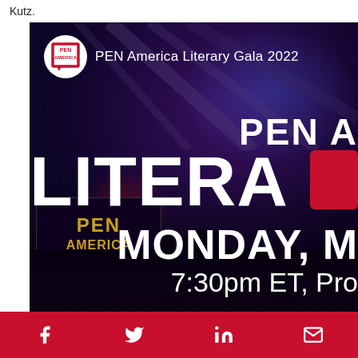Kutz.
[Figure (photo): PEN America Literary Gala 2022 event promotional image with dark blue/purple background, stage lighting with red and blue lights, PEN America logo in top left, large white bold text reading 'PEN A', 'LITERA', 'MONDAY, M', '7:30pm ET, Pro' overlaid on the image. A PEN America branded backdrop is visible in the lower left.]
Social share icons: Facebook, Twitter, LinkedIn, Email